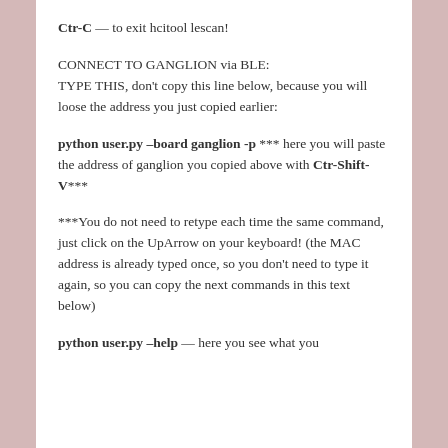Ctr-C — to exit hcitool lescan!
CONNECT TO GANGLION via BLE:
TYPE THIS, don't copy this line below, because you will loose the address you just copied earlier:
python user.py –board ganglion -p *** here you will paste the address of ganglion you copied above with Ctr-Shift-V***
***You do not need to retype each time the same command, just click on the UpArrow on your keyboard! (the MAC address is already typed once, so you don't need to type it again, so you can copy the next commands in this text below)
python user.py –help — here you see what you